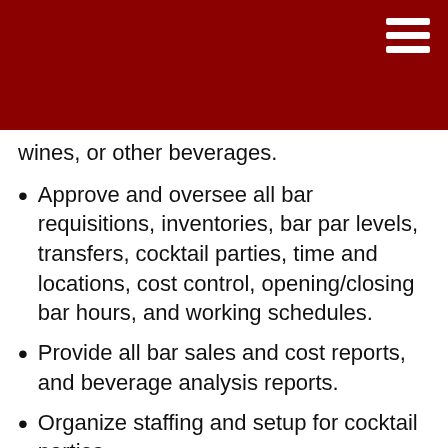wines, or other beverages.
Approve and oversee all bar requisitions, inventories, bar par levels, transfers, cocktail parties, time and locations, cost control, opening/closing bar hours, and working schedules.
Provide all bar sales and cost reports, and beverage analysis reports.
Organize staffing and setup for cocktail parties.
Supervise and ensure that cocktail parties are efficiently operated.